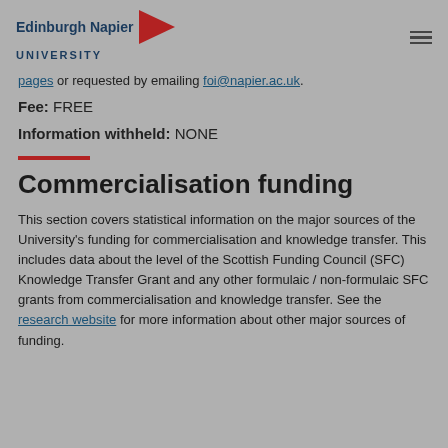[Figure (logo): Edinburgh Napier University logo with dark blue text and red arrow/triangle graphic]
pages or requested by emailing foi@napier.ac.uk.
Fee: FREE
Information withheld: NONE
Commercialisation funding
This section covers statistical information on the major sources of the University's funding for commercialisation and knowledge transfer. This includes data about the level of the Scottish Funding Council (SFC) Knowledge Transfer Grant and any other formulaic / non-formulaic SFC grants from commercialisation and knowledge transfer. See the research website for more information about other major sources of funding.